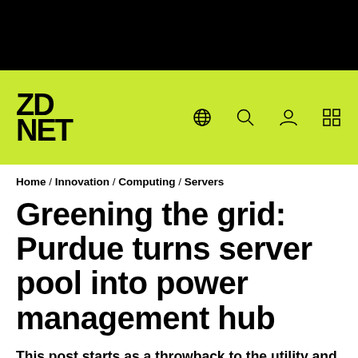[Figure (logo): Black top bar]
ZDNET logo with navigation icons (globe, search, user, grid) on lime green background
Home / Innovation / Computing / Servers
Greening the grid: Purdue turns server pool into power management hub
This post starts as a throwback to the utility and